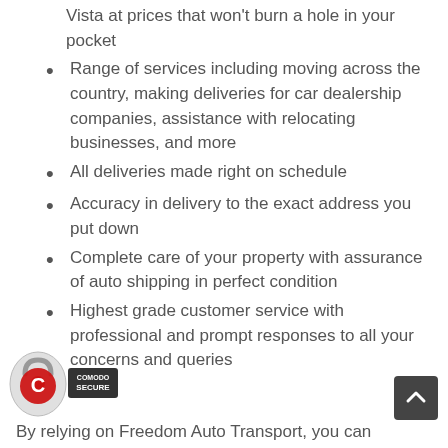Vista at prices that won't burn a hole in your pocket
Range of services including moving across the country, making deliveries for car dealership companies, assistance with relocating businesses, and more
All deliveries made right on schedule
Accuracy in delivery to the exact address you put down
Complete care of your property with assurance of auto shipping in perfect condition
Highest grade customer service with professional and prompt responses to all your concerns and queries
By relying on Freedom Auto Transport, you can